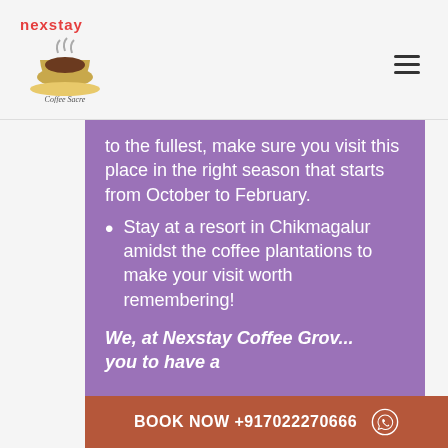nexstay Coffee Sacre Resort
to the fullest, make sure you visit this place in the right season that starts from October to February.
Stay at a resort in Chikmagalur amidst the coffee plantations to make your visit worth remembering!
We, at Nexstay Coffee Grov... you to have a
BOOK NOW +917022270666